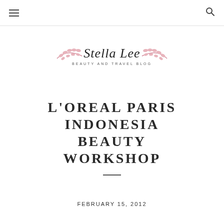☰  🔍
[Figure (logo): Stella Lee Beauty and Travel Blog logo with script text and pink leaf/branch decorations on either side]
L'OREAL PARIS INDONESIA BEAUTY WORKSHOP
FEBRUARY 15, 2012